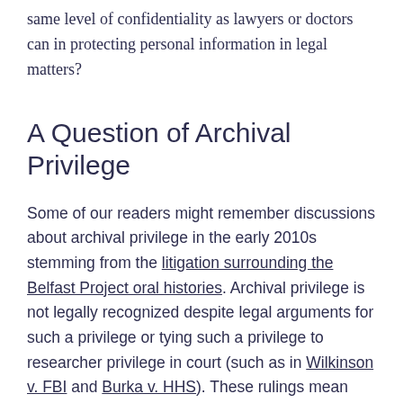same level of confidentiality as lawyers or doctors can in protecting personal information in legal matters?
A Question of Archival Privilege
Some of our readers might remember discussions about archival privilege in the early 2010s stemming from the litigation surrounding the Belfast Project oral histories. Archival privilege is not legally recognized despite legal arguments for such a privilege or tying such a privilege to researcher privilege in court (such as in Wilkinson v. FBI and Burka v. HHS). These rulings mean that materials in a collection are subject to search via subpoenas and warrants, which leads to privacy harms to those whose personal data is included in those collections. Nevertheless, it's still worthwhile to revisit the calls for